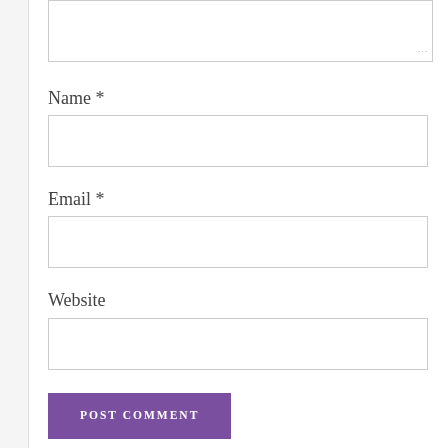[Figure (screenshot): Textarea input field (comment box) at the top of the page, partially visible, with resize handle at bottom-right corner]
Name *
[Figure (screenshot): Name input field (empty text box)]
Email *
[Figure (screenshot): Email input field (empty text box)]
Website
[Figure (screenshot): Website input field (empty text box)]
POST COMMENT